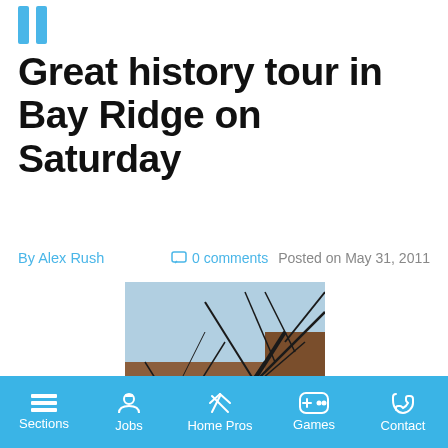Great history tour in Bay Ridge on Saturday
By Alex Rush    0 comments   Posted on May 31, 2011
[Figure (photo): Close-up photo of brownstone building facades with ornate curved bay windows and decorative stonework against a blue sky with bare tree branches visible]
Sections  Jobs  Home Pros  Games  Contact